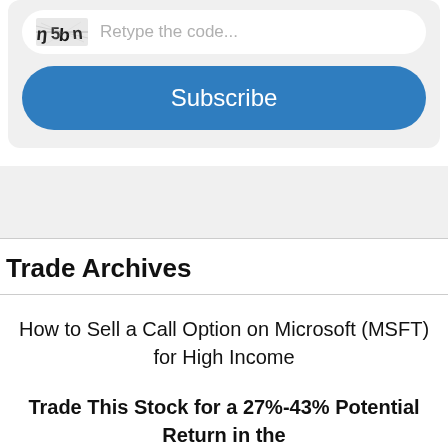[Figure (screenshot): CAPTCHA input row with distorted text image on left and placeholder text 'Retype the code...' on right, inside a white rounded rectangle within a gray card]
Subscribe
[Figure (other): Gray banner/advertisement band]
Trade Archives
How to Sell a Call Option on Microsoft (MSFT) for High Income
Trade This Stock for a 27%-43% Potential Return in the